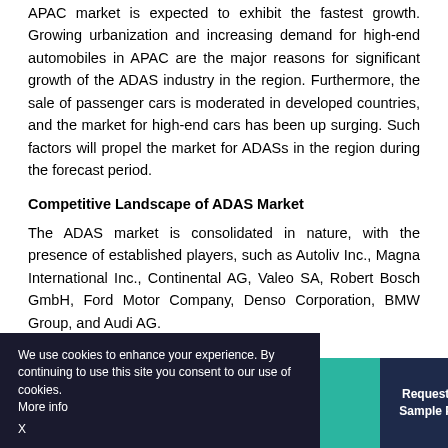APAC market is expected to exhibit the fastest growth. Growing urbanization and increasing demand for high-end automobiles in APAC are the major reasons for significant growth of the ADAS industry in the region. Furthermore, the sale of passenger cars is moderated in developed countries, and the market for high-end cars has been up surging. Such factors will propel the market for ADASs in the region during the forecast period.
Competitive Landscape of ADAS Market
The ADAS market is consolidated in nature, with the presence of established players, such as Autoliv Inc., Magna International Inc., Continental AG, Valeo SA, Robert Bosch GmbH, Ford Motor Company, Denso Corporation, BMW Group, and Audi AG.
[Figure (other): Cookie consent banner overlay at the bottom of the page with dark navy background, text about cookie usage, a teal button area, and a dark navy 'Request Free Sample Pages' button.]